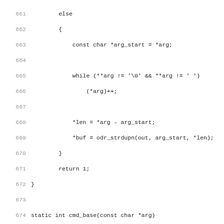Source code listing, lines 661-692+, showing C functions cmd_base and session_connect_base with control flow logic.